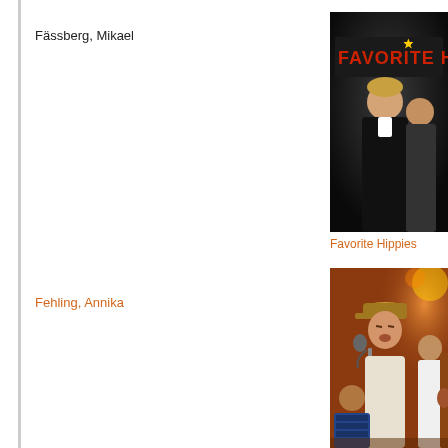Fässberg, Mikael
[Figure (photo): Promotional photo of the band Favorite Hippies against a dark background with band name logo. Two young men visible, one in a black jacket in the foreground.]
Favorite Hippies
Fehling, Annika
[Figure (photo): Live concert photo of a young man wearing a cap singing into a microphone, with another musician playing guitar to the right and an accordion player in the background, stage lights visible.]